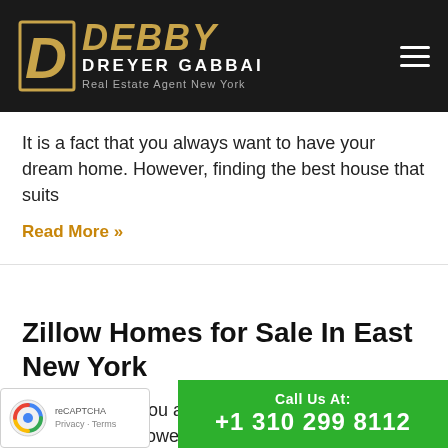[Figure (logo): Debby Dreyer Gabbai Real Estate Agent New York logo with D icon on dark background]
It is a fact that you always want to have your dream home. However, finding the best house that suits
Read More »
Zillow Homes for Sale In East New York
It is a fact that you always want to have your dream home. However, finding the best house that suits
Read More »
[Figure (logo): Google reCAPTCHA badge with Privacy and Terms links]
Call Us At: +1 310 299 8112